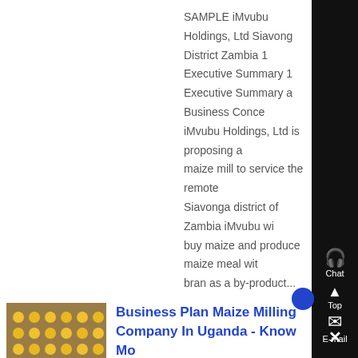SAMPLE iMvubu Holdings, Ltd Siavonga District Zambia 1 Executive Summary 1 Executive Summary a Business Concept iMvubu Holdings, Ltd is proposing a maize mill to service the remote Siavonga district of Zambia iMvubu will buy maize and produce maize meal with bran as a by-product...
[Figure (photo): Thumbnail photo of a maize milling facility interior with yellow machinery/trays]
Business Plan Maize Milling Company In Uganda - Know Mo
Business plan maize milling company ugandamaize milling business if you have knowledge about maize milling you can have the chance to earn a high amount of money because maize milling